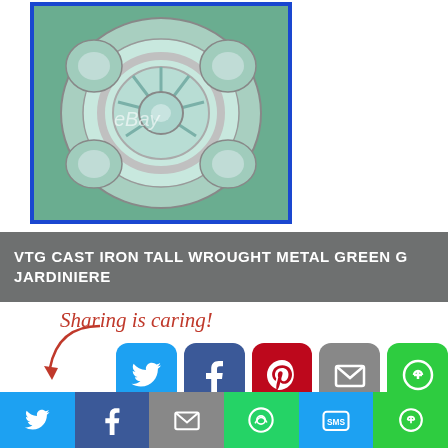[Figure (photo): eBay product photo of green glass and wrought iron jardiniere, with blue border and eBay watermark]
VTG CAST IRON TALL WROUGHT METAL GREEN G JARDINIERE
Sharing is caring!
[Figure (infographic): Social sharing buttons: Twitter, Facebook, Pinterest, Email, More (green)]
You may also like:
[Figure (photo): Thumbnail 1: purple round object on wall]
[Figure (photo): Thumbnail 2: metal shelving unit]
[Figure (photo): Thumbnail 3: colorful book/record covers]
[Figure (infographic): Bottom share bar: Twitter, Facebook, Email, WhatsApp, SMS, More]